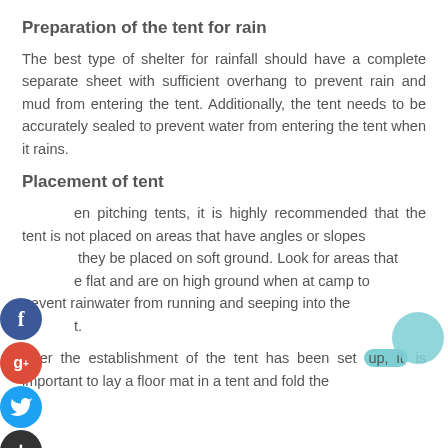Preparation of the tent for rain
The best type of shelter for rainfall should have a complete separate sheet with sufficient overhang to prevent rain and mud from entering the tent. Additionally, the tent needs to be accurately sealed to prevent water from entering the tent when it rains.
Placement of tent
When pitching tents, it is highly recommended that the tent is not placed on areas that have angles or slopes they be placed on soft ground. Look for areas that are flat and are on high ground when at camp to prevent rainwater from running and seeping into the tent.
After the establishment of the tent has been set up, it is important to lay a floor mat in a tent and fold the